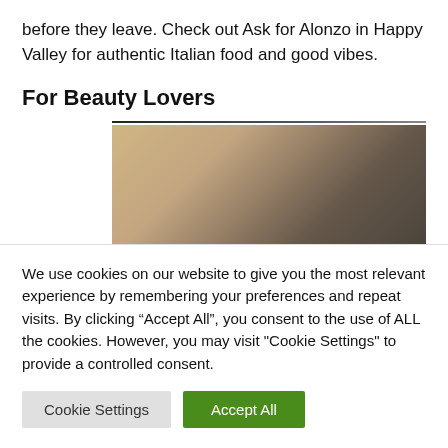before they leave. Check out Ask for Alonzo in Happy Valley for authentic Italian food and good vibes.
For Beauty Lovers
[Figure (photo): Partially visible photo beneath a horizontal divider line, showing dark and warm-toned imagery, cropped at the right edge of the page.]
We use cookies on our website to give you the most relevant experience by remembering your preferences and repeat visits. By clicking “Accept All”, you consent to the use of ALL the cookies. However, you may visit "Cookie Settings" to provide a controlled consent.